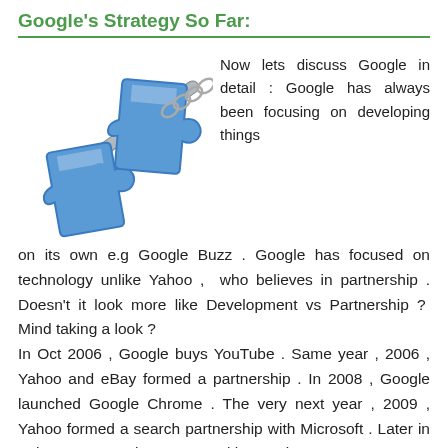Google's Strategy So Far:
[Figure (illustration): Two blue puzzle pieces linked together on a metallic chain, representing partnership or connection.]
Now lets discuss Google in detail : Google has always been focusing on developing things on its own e.g Google Buzz . Google has focused on technology unlike Yahoo , who believes in partnership . Doesn't it look more like Development vs Partnership ? Mind taking a look ? In Oct 2006 , Google buys YouTube . Same year , 2006 , Yahoo and eBay formed a partnership . In 2008 , Google launched Google Chrome . The very next year , 2009 , Yahoo formed a search partnership with Microsoft . Later in Feb 2010 , Google came up with Google Buzz . Same year , Yahoo and Twitter formed a partnership . Moreover